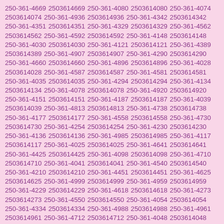250-361-4669 2503614669 250-361-4080 2503614080 250-361-4074 2503614074 250-361-4936 2503614936 250-361-4342 2503614342 250-361-4351 2503614351 250-361-4329 2503614329 250-361-4562 2503614562 250-361-4592 2503614592 250-361-4148 2503614148 250-361-4030 2503614030 250-361-4121 2503614121 250-361-4389 2503614389 250-361-4907 2503614907 250-361-4290 2503614290 250-361-4660 2503614660 250-361-4896 2503614896 250-361-4028 2503614028 250-361-4587 2503614587 250-361-4581 2503614581 250-361-4035 2503614035 250-361-4294 2503614294 250-361-4134 2503614134 250-361-4078 2503614078 250-361-4920 2503614920 250-361-4151 2503614151 250-361-4187 2503614187 250-361-4039 2503614039 250-361-4813 2503614813 250-361-4738 2503614738 250-361-4177 2503614177 250-361-4558 2503614558 250-361-4730 2503614730 250-361-4254 2503614254 250-361-4230 2503614230 250-361-4136 2503614136 250-361-4985 2503614985 250-361-4117 2503614117 250-361-4025 2503614025 250-361-4641 2503614641 250-361-4425 2503614425 250-361-4098 2503614098 250-361-4710 2503614710 250-361-4041 2503614041 250-361-4540 2503614540 250-361-4210 2503614210 250-361-4451 2503614451 250-361-4625 2503614625 250-361-4999 2503614999 250-361-4959 2503614959 250-361-4229 2503614229 250-361-4618 2503614618 250-361-4273 2503614273 250-361-4550 2503614550 250-361-4054 2503614054 250-361-4334 2503614334 250-361-4988 2503614988 250-361-4961 2503614961 250-361-4712 2503614712 250-361-4048 2503614048 250-361-4281 2503614281 250-361-4366 2503614366 250-361-4213 2503614213 250-361-4191 2503614191 250-361-4567 2503614567